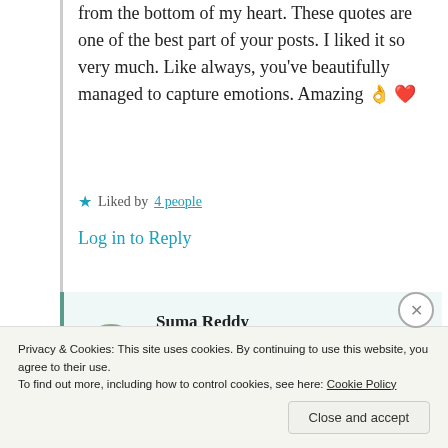from the bottom of my heart. These quotes are one of the best part of your posts. I liked it so very much. Like always, you've beautifully managed to capture emotions. Amazing 👌 ❤️
★ Liked by 4 people
Log in to Reply
Suma Reddy
24th Aug 2021 at 8:53 pm
Privacy & Cookies: This site uses cookies. By continuing to use this website, you agree to their use.
To find out more, including how to control cookies, see here: Cookie Policy
Close and accept